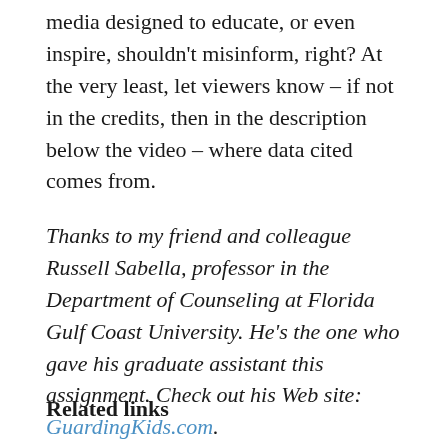media designed to educate, or even inspire, shouldn't misinform, right? At the very least, let viewers know – if not in the credits, then in the description below the video – where data cited comes from.
Thanks to my friend and colleague Russell Sabella, professor in the Department of Counseling at Florida Gulf Coast University. He's the one who gave his graduate assistant this assignment. Check out his Web site: GuardingKids.com.
Related links